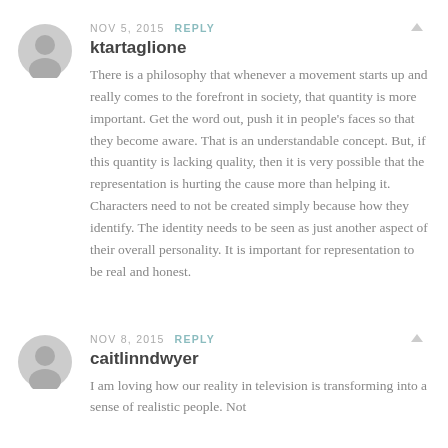NOV 5, 2015  REPLY
ktartaglione
There is a philosophy that whenever a movement starts up and really comes to the forefront in society, that quantity is more important. Get the word out, push it in people's faces so that they become aware. That is an understandable concept. But, if this quantity is lacking quality, then it is very possible that the representation is hurting the cause more than helping it. Characters need to not be created simply because how they identify. The identity needs to be seen as just another aspect of their overall personality. It is important for representation to be real and honest.
NOV 8, 2015  REPLY
caitlinndwyer
I am loving how our reality in television is transforming into a sense of realistic people. Not